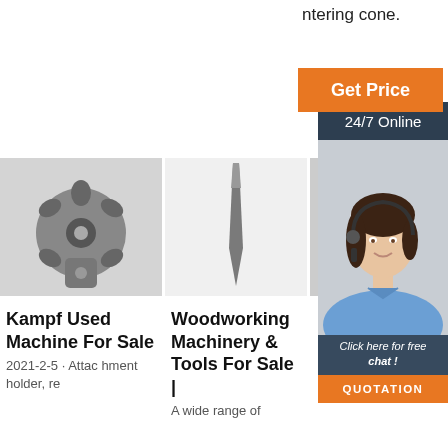ntering cone.
[Figure (other): Orange 'Get Price' button]
[Figure (other): Dark blue '24/7 Online' bar with customer service representative photo and 'Click here for free chat!' text]
[Figure (other): Orange 'QUOTATION' button]
[Figure (photo): Black and white photo of a drill bit / cutting tool head with multiple inserts]
[Figure (photo): Photo of a narrow elongated metal chisel or spike tool on white background]
[Figure (photo): Partial photo of machinery equipment]
Kampf Used Machine For Sale
2021-2-5 · Attac hment holder, re
Woodworking Machinery & Tools For Sale |
A wide range of
Gar... Workshop Equipment For Sale |
Garage Equipme nt MAC AERO...